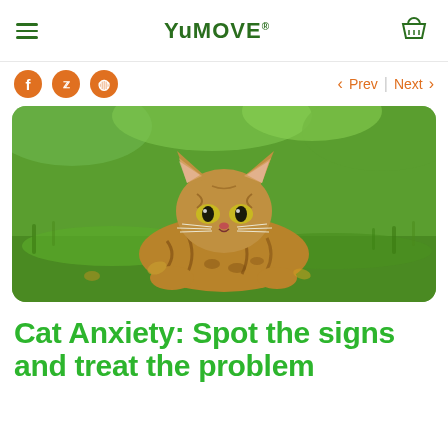YuMOVE
[Figure (photo): A Bengal cat lying on green grass, looking alert at the camera, outdoors with bokeh green background]
Cat Anxiety: Spot the signs and treat the problem